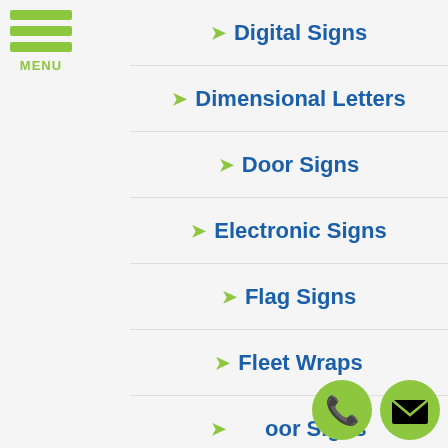Digital Signs
Dimensional Letters
Door Signs
Electronic Signs
Flag Signs
Fleet Wraps
Floor Signs
Hardore Signs
Hanging Signs
[Figure (illustration): Red circular seal badge with gold ribbon banner reading 'View Sign Gallery - CLICK HERE']